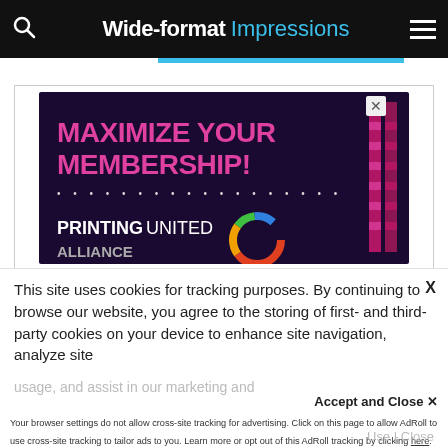Wide-format Impressions
[Figure (illustration): Advertisement banner with dark purple background reading 'MAXIMIZE YOUR MEMBERSHIP!' in large pink/magenta text, with dots row, and PRINTING UNITED ALLIANCE logo at bottom. Pink vertical bars on right side. X close button at top right.]
This site uses cookies for tracking purposes. By continuing to browse our website, you agree to the storing of first- and third-party cookies on your device to enhance site navigation, analyze site usage, and assist in our marketing and
Accept and Close ✕
Your browser settings do not allow cross-site tracking for advertising. Click on this page to allow AdRoll to use cross-site tracking to tailor ads to you. Learn more or opt out of this AdRoll tracking by clicking here. This message only appears once.
Use | Close